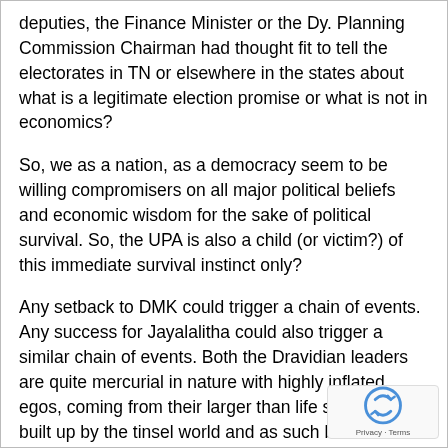deputies, the Finance Minister or the Dy. Planning Commission Chairman had thought fit to tell the electorates in TN or elsewhere in the states about what is a legitimate election promise or what is not in economics?
So, we as a nation, as a democracy seem to be willing compromisers on all major political beliefs and economic wisdom for the sake of political survival. So, the UPA is also a child (or victim?) of this immediate survival instinct only?
Any setback to DMK could trigger a chain of events. Any success for Jayalalitha could also trigger a similar chain of events. Both the Dravidian leaders are quite mercurial in nature with highly inflated egos, coming from their larger than life self images built up by the tinsel world and as such both of them are not grounded in any serious political ideology except the filmic glamour and the easy riches giving them a highly unreliable sense of loyalties or any commitment to any high principles of morality and conduct.